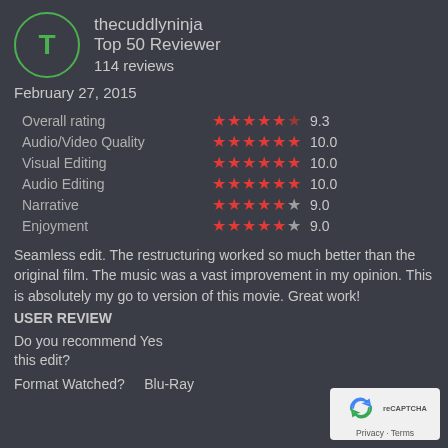thecuddlyninja
Top 50 Reviewer
114 reviews
February 27, 2015
| Category | Stars | Score |
| --- | --- | --- |
| Overall rating | ★★★★★½ | 9.3 |
| Audio/Video Quality | ★★★★★★ | 10.0 |
| Visual Editing | ★★★★★★ | 10.0 |
| Audio Editing | ★★★★★★ | 10.0 |
| Narrative | ★★★★½☆ | 9.0 |
| Enjoyment | ★★★★½☆ | 9.0 |
Seamless edit. The restructuring worked so much better than the original film. The music was a vast improvement in my opinion. This is absolutely my go to version of this movie. Great work!
USER REVIEW
Do you recommend this edit? Yes
Format Watched? Blu-Ray